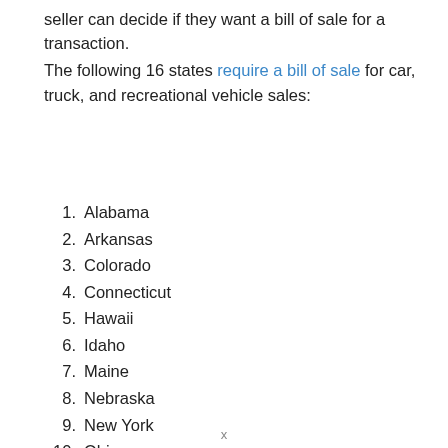seller can decide if they want a bill of sale for a transaction.
The following 16 states require a bill of sale for car, truck, and recreational vehicle sales:
1. Alabama
2. Arkansas
3. Colorado
4. Connecticut
5. Hawaii
6. Idaho
7. Maine
8. Nebraska
9. New York
10. Ohio
x